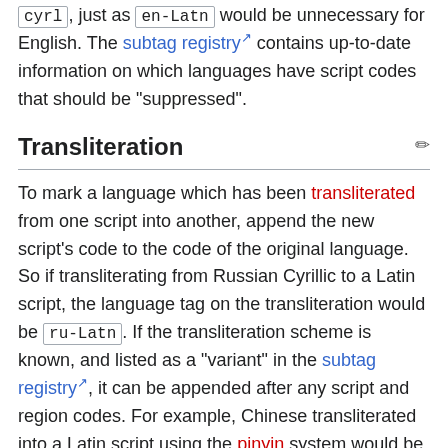cyrl , just as en-Latn would be unnecessary for English. The subtag registry contains up-to-date information on which languages have script codes that should be "suppressed".
Transliteration
To mark a language which has been transliterated from one script into another, append the new script's code to the code of the original language. So if transliterating from Russian Cyrillic to a Latin script, the language tag on the transliteration would be ru-Latn . If the transliteration scheme is known, and listed as a "variant" in the subtag registry , it can be appended after any script and region codes. For example, Chinese transliterated into a Latin script using the pinyin system would be zh-Latn-pinyin . As a convenience for transliterating to Latin